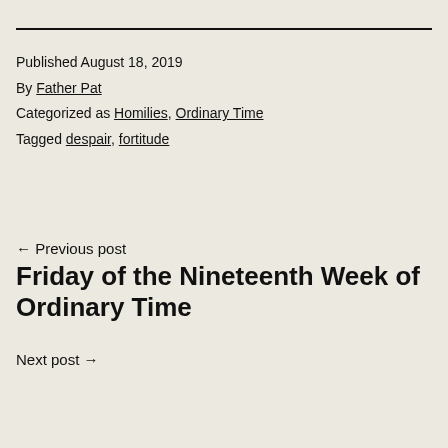Published August 18, 2019
By Father Pat
Categorized as Homilies, Ordinary Time
Tagged despair, fortitude
← Previous post
Friday of the Nineteenth Week of Ordinary Time
Next post →